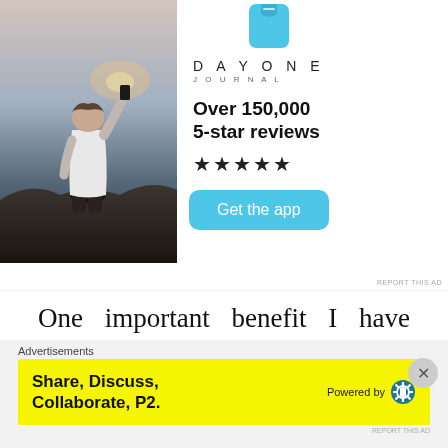[Figure (photo): Person sitting on rocks photographing sunset with phone, seen from behind, wearing white t-shirt]
DAY ONE
JOURNAL
Over 150,000
5-star reviews
★★★★★
Get the app
REPORT THIS AD
One important benefit I have derived from reading is that it helped challenge my perspectives on different things about life in general. The different perspectives embedded by
Advertisements
Share, Discuss, Collaborate, P2.
Powered by
REPORT THIS AD